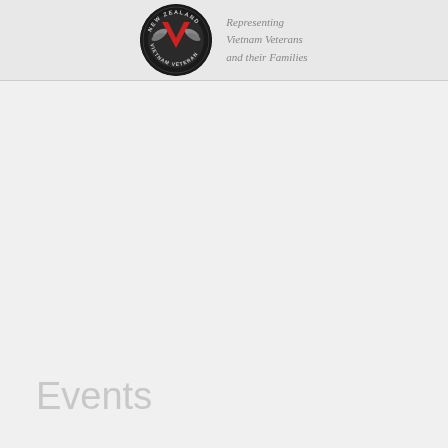New Zealand Vietnam Veterans Association — Representing Vietnam Veterans and their Families
Events